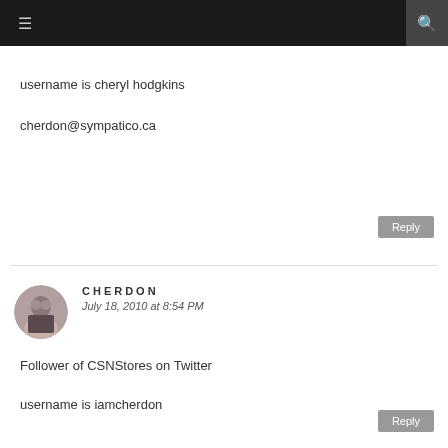≡  🔍
username is cheryl hodgkins

cherdon@sympatico.ca
Reply
CHERDON
July 18, 2010 at 8:54 PM
Follower of CSNStores on Twitter

username is iamcherdon
Reply